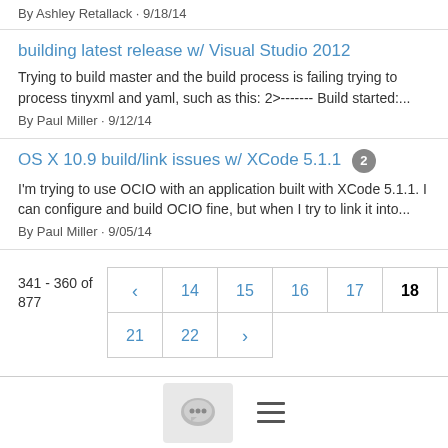By Ashley Retallack · 9/18/14
building latest release w/ Visual Studio 2012
Trying to build master and the build process is failing trying to process tinyxml and yaml, such as this: 2>------- Build started:...
By Paul Miller · 9/12/14
OS X 10.9 build/link issues w/ XCode 5.1.1 2
I'm trying to use OCIO with an application built with XCode 5.1.1. I can configure and build OCIO fine, but when I try to link it into...
By Paul Miller · 9/05/14
341 - 360 of 877
← 14 15 16 17 18 19 20 21 22 →